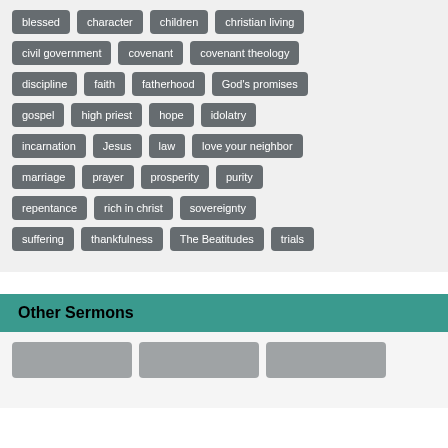blessed
character
children
christian living
civil government
covenant
covenant theology
discipline
faith
fatherhood
God's promises
gospel
high priest
hope
idolatry
incarnation
Jesus
law
love your neighbor
marriage
prayer
prosperity
purity
repentance
rich in christ
sovereignty
suffering
thankfulness
The Beatitudes
trials
Other Sermons